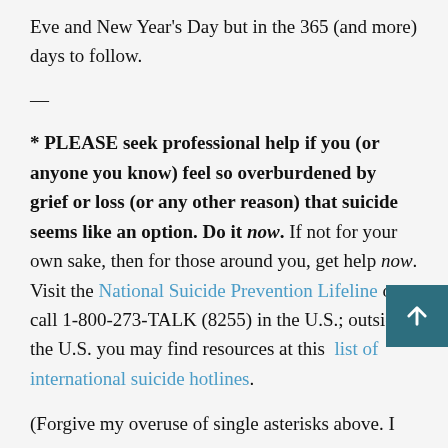Eve and New Year's Day but in the 365 (and more) days to follow.
—
* PLEASE seek professional help if you (or anyone you know) feel so overburdened by grief or loss (or any other reason) that suicide seems like an option. Do it now. If not for your own sake, then for those around you, get help now. Visit the National Suicide Prevention Lifeline or call 1-800-273-TALK (8255) in the U.S.; outside the U.S. you may find resources at this list of international suicide hotlines.
(Forgive my overuse of single asterisks above. I